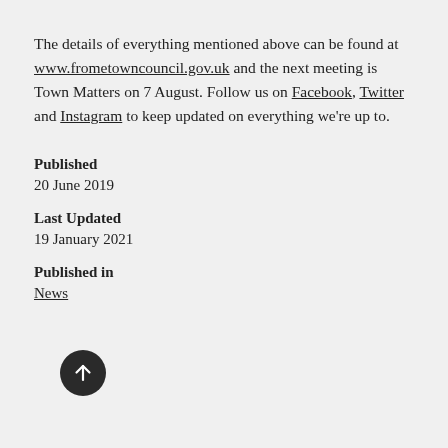The details of everything mentioned above can be found at www.frometowncouncil.gov.uk and the next meeting is Town Matters on 7 August. Follow us on Facebook, Twitter and Instagram to keep updated on everything we're up to.
Published
20 June 2019
Last Updated
19 January 2021
Published in
News